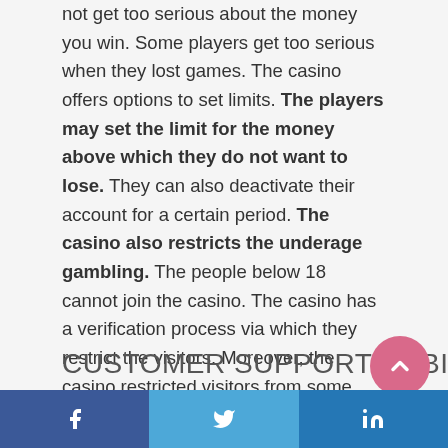not get too serious about the money you win. Some players get too serious when they lost games. The casino offers options to set limits. The players may set the limit for the money above which they do not want to lose. They can also deactivate their account for a certain period. The casino also restricts the underage gambling. The people below 18 cannot join the casino. The casino has a verification process via which they restrict the visitors. Moreover, the casino restricted visitors from some countries to get into the casino. Such countries include England, Australia, Canada, New Zealand, and many more.
CUSTOMER SUPPORT AT BINGO